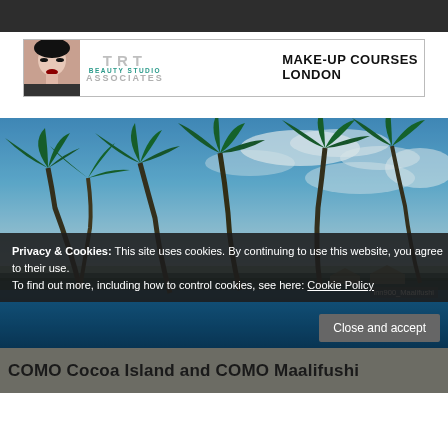[Figure (photo): Top dark navigation bar]
[Figure (logo): TRT Beauty Studio Associates - Make-Up Courses London advertisement banner with a woman's face on the left]
[Figure (photo): Tropical beach scene with palm trees bending in the wind against a blue sky with clouds, Maldives resort]
Privacy & Cookies: This site uses cookies. By continuing to use this website, you agree to their use.
To find out more, including how to control cookies, see here: Cookie Policy
Close and accept
COMO Cocoa Island and COMO Maalifushi